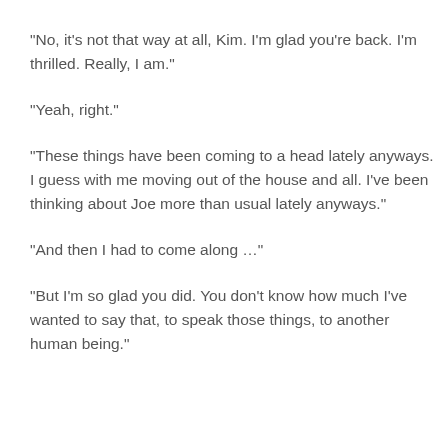“No, it’s not that way at all, Kim.  I’m glad you’re back.  I’m thrilled.  Really, I am.”
“Yeah, right.”
“These things have been coming to a head lately anyways.  I guess with me moving out of the house and all.  I’ve been thinking about Joe more than usual lately anyways.”
“And then I had to come along …”
“But I’m so glad you did.  You don’t know how much I’ve wanted to say that, to speak those things, to another human being.”